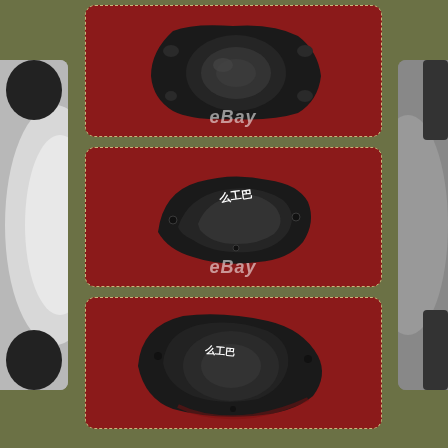[Figure (photo): Three product photos of black motorcycle engine covers/stator covers displayed on red fabric background with eBay watermark. Top photo shows cover viewed from above. Middle photo shows cover from a side angle with Chinese text on top. Bottom photo shows cover from another angle with Chinese text visible. Photos are arranged vertically in a column on an olive/khaki green background with dashed borders. Decorative side pieces (white/grey curved pieces) are visible on left and right edges.]